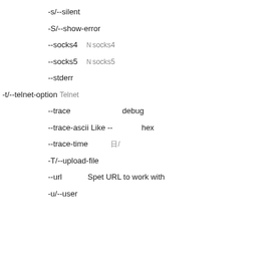-s/--silent
-S/--show-error　　ＳＨＯ
--socks4 Ｎsocks4
--socks5 Ｎsocks5
--stderr
-t/--telnet-option Telnet
--trace　　　　　　debug
--trace-ascii Like --　　　　hex
--trace-time　　　日/
-T/--upload-file
--url       Spet URL to work with
-u/--user